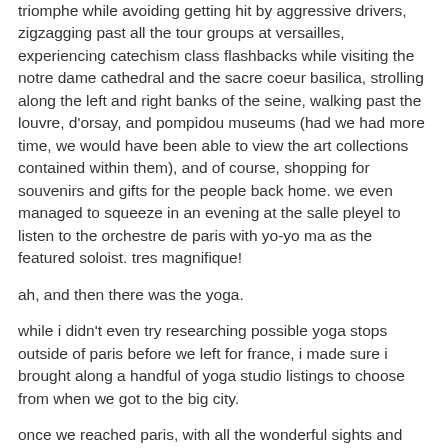triomphe while avoiding getting hit by aggressive drivers, zigzagging past all the tour groups at versailles, experiencing catechism class flashbacks while visiting the notre dame cathedral and the sacre coeur basilica, strolling along the left and right banks of the seine, walking past the louvre, d'orsay, and pompidou museums (had we had more time, we would have been able to view the art collections contained within them), and of course, shopping for souvenirs and gifts for the people back home. we even managed to squeeze in an evening at the salle pleyel to listen to the orchestre de paris with yo-yo ma as the featured soloist. tres magnifique!
ah, and then there was the yoga.
while i didn't even try researching possible yoga stops outside of paris before we left for france, i made sure i brought along a handful of yoga studio listings to choose from when we got to the big city.
once we reached paris, with all the wonderful sights and sounds (and food and wine) all around us, it was hard to find